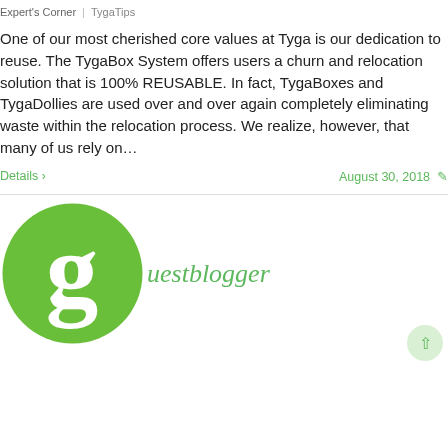Expert's Corner  |  TygaTips
One of our most cherished core values at Tyga is our dedication to reuse. The TygaBox System offers users a churn and relocation solution that is 100% REUSABLE. In fact, TygaBoxes and TygaDollies are used over and over again completely eliminating waste within the relocation process. We realize, however, that many of us rely on…
Details >   August 30, 2018  ✎
[Figure (illustration): Green circular logo with a white stylized 'g' letter, followed by the text 'uestblogger' in gray, forming the word 'guestblogger']